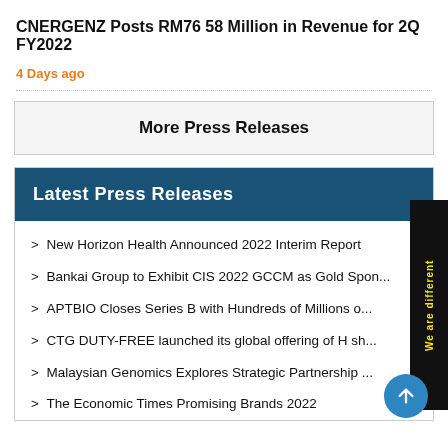CNERGENZ Posts RM76 58 Million in Revenue for 2Q FY2022
4 Days ago
More Press Releases
Latest Press Releases
New Horizon Health Announced 2022 Interim Report
Bankai Group to Exhibit CIS 2022 GCCM as Gold Spon...
APTBIO Closes Series B with Hundreds of Millions o...
CTG DUTY-FREE launched its global offering of H sh...
Malaysian Genomics Explores Strategic Partnership ...
The Economic Times Promising Brands 2022